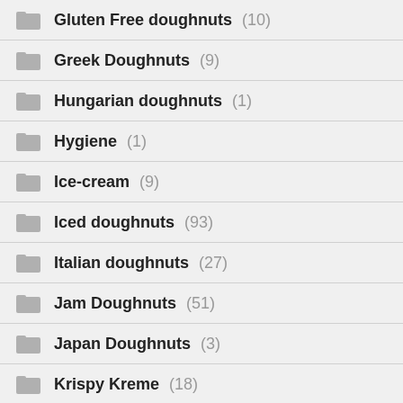Gluten Free doughnuts (10)
Greek Doughnuts (9)
Hungarian doughnuts (1)
Hygiene (1)
Ice-cream (9)
Iced doughnuts (93)
Italian doughnuts (27)
Jam Doughnuts (51)
Japan Doughnuts (3)
Krispy Kreme (18)